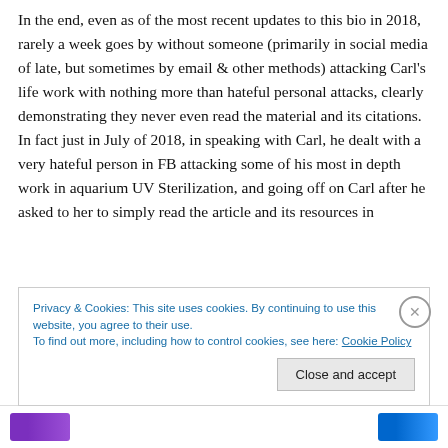In the end, even as of the most recent updates to this bio in 2018, rarely a week goes by without someone (primarily in social media of late, but sometimes by email & other methods) attacking Carl's life work with nothing more than hateful personal attacks, clearly demonstrating they never even read the material and its citations. In fact just in July of 2018, in speaking with Carl, he dealt with a very hateful person in FB attacking some of his most in depth work in aquarium UV Sterilization, and going off on Carl after he asked to her to simply read the article and its resources in
Privacy & Cookies: This site uses cookies. By continuing to use this website, you agree to their use.
To find out more, including how to control cookies, see here: Cookie Policy